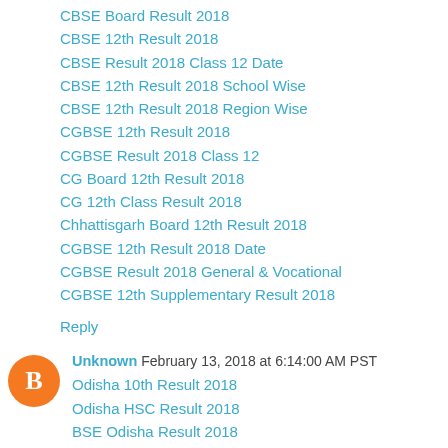CBSE Board Result 2018
CBSE 12th Result 2018
CBSE Result 2018 Class 12 Date
CBSE 12th Result 2018 School Wise
CBSE 12th Result 2018 Region Wise
CGBSE 12th Result 2018
CGBSE Result 2018 Class 12
CG Board 12th Result 2018
CG 12th Class Result 2018
Chhattisgarh Board 12th Result 2018
CGBSE 12th Result 2018 Date
CGBSE Result 2018 General & Vocational
CGBSE 12th Supplementary Result 2018
Reply
Unknown  February 13, 2018 at 6:14:00 AM PST
Odisha 10th Result 2018
Odisha HSC Result 2018
BSE Odisha Result 2018
Odisha Matric Result 2018
Odisha HSC 10th Result 2018